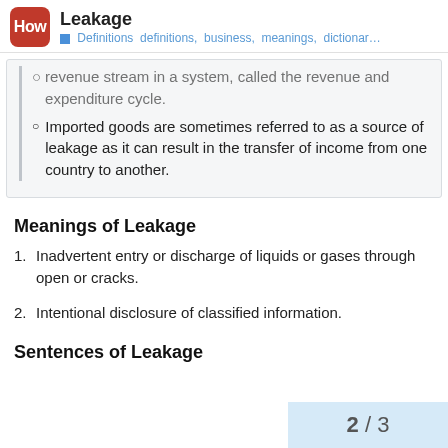Leakage — Definitions definitions, business, meanings, dictionar...
revenue stream in a system, called the revenue and expenditure cycle.
Imported goods are sometimes referred to as a source of leakage as it can result in the transfer of income from one country to another.
Meanings of Leakage
1. Inadvertent entry or discharge of liquids or gases through open or cracks.
2. Intentional disclosure of classified information.
Sentences of Leakage
2 / 3